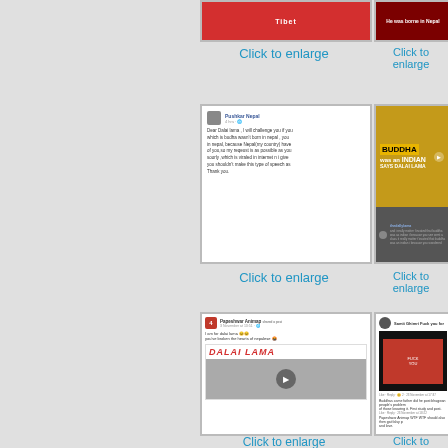[Figure (screenshot): Cropped red background thumbnail with white text 'Tibet']
Click to enlarge
[Figure (screenshot): Cropped dark red thumbnail with white text 'He was borne in Nepal']
Click to enlarge
[Figure (screenshot): Facebook post by Pushkar Nepal challenging Dalai Lama about Buddha's birthplace in Nepal]
Click to enlarge
[Figure (screenshot): YouTube thumbnail: BUDDHA was an INDIAN SAYS DALAI LAMA with photo of Dalai Lama]
Click to enlarge
[Figure (screenshot): Facebook post with DALAI LAMA text in red and photo of Sikh man with others]
Click to enlarge
[Figure (screenshot): Facebook post with dark image and comments below]
Click to enlarge
[Figure (screenshot): Partial Facebook post at bottom left]
[Figure (screenshot): Partial Facebook post at bottom right]